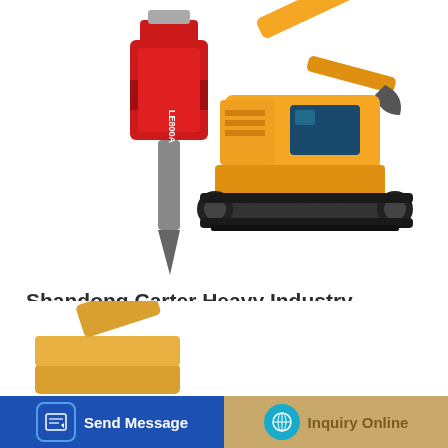[Figure (photo): Red hydraulic hammer attachment on the left and a yellow tracked excavator on the right, on a white background.]
Shandong Carter Heavy Industry Machinery Co., Ltd. - China
Shandong Carter Heavy Industry Machinery Co., Ltd ist ein professionelles Unternehmen, spezialisiert auf die Herstellung und den Export von kompletten Sets von Mini...
Learn More
[Figure (photo): Yellow excavator bucket attachment in the lower portion of the page.]
Send Message
Inquiry Online